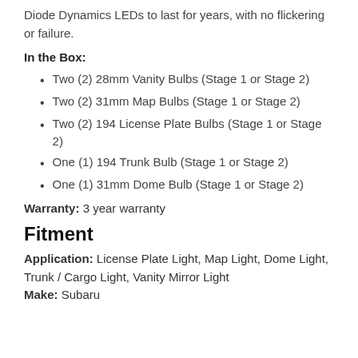Diode Dynamics LEDs to last for years, with no flickering or failure.
In the Box:
Two (2) 28mm Vanity Bulbs (Stage 1 or Stage 2)
Two (2) 31mm Map Bulbs (Stage 1 or Stage 2)
Two (2) 194 License Plate Bulbs (Stage 1 or Stage 2)
One (1) 194 Trunk Bulb (Stage 1 or Stage 2)
One (1) 31mm Dome Bulb (Stage 1 or Stage 2)
Warranty: 3 year warranty
Fitment
Application: License Plate Light, Map Light, Dome Light, Trunk / Cargo Light, Vanity Mirror Light
Make: Subaru